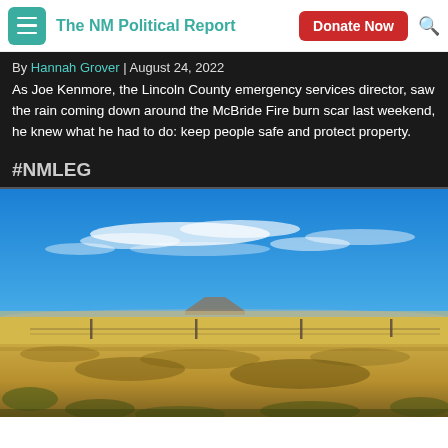The NM Political Report
By Hannah Grover | August 24, 2022
As Joe Kenmore, the Lincoln County emergency services director, saw the rain coming down around the McBride Fire burn scar last weekend, he knew what he had to do: keep people safe and protect property.
#NMLEG
[Figure (photo): Wide open grassland prairie landscape under a bright blue sky with wispy clouds. Flat terrain with golden-yellow grasses extends to the horizon, with a small mesa or butte visible in the distance. Fence posts are visible in the mid-ground.]